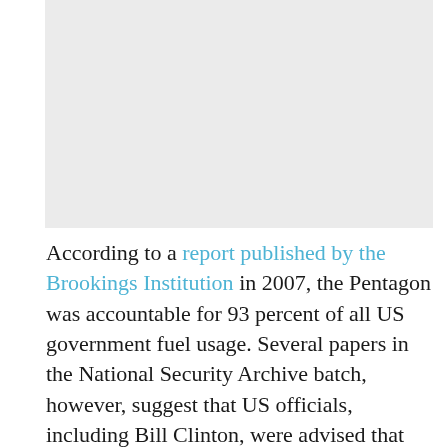[Figure (photo): Large image placeholder (light gray rectangle) at the top of the page]
According to a report published by the Brookings Institution in 2007, the Pentagon was accountable for 93 percent of all US government fuel usage. Several papers in the National Security Archive batch, however, suggest that US officials, including Bill Clinton, were advised that the genuine number was a fraction of that. This deceptive picture was